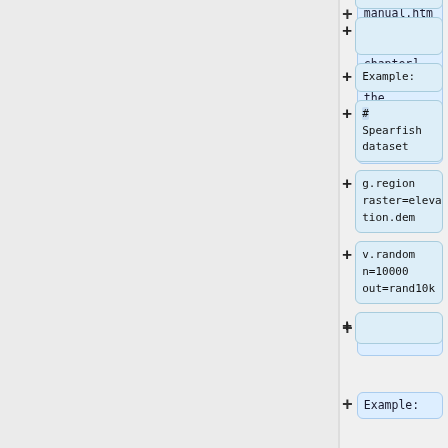+ manual.html callgrind chapter] in the Valgrind user manual
+
+ Example:
+ # Spearfish dataset
+ g.region raster=elevation.dem
+ v.random n=10000 out=rand10k
+